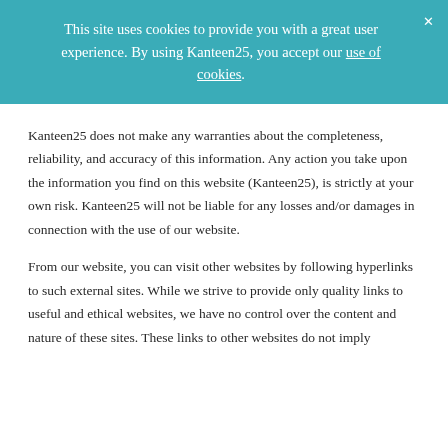This site uses cookies to provide you with a great user experience. By using Kanteen25, you accept our use of cookies.
Kanteen25 does not make any warranties about the completeness, reliability, and accuracy of this information. Any action you take upon the information you find on this website (Kanteen25), is strictly at your own risk. Kanteen25 will not be liable for any losses and/or damages in connection with the use of our website.
From our website, you can visit other websites by following hyperlinks to such external sites. While we strive to provide only quality links to useful and ethical websites, we have no control over the content and nature of these sites. These links to other websites do not imply